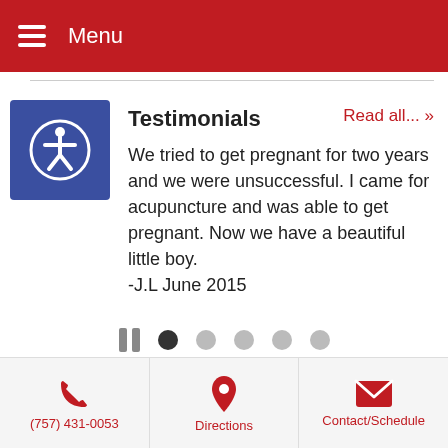Menu
[Figure (illustration): Blue accessibility icon with wheelchair symbol]
Testimonials
Read all... »
We tried to get pregnant for two years and we were unsuccessful. I came for acupuncture and was able to get pregnant. Now we have a beautiful little boy.
-J.L June 2015
[Figure (infographic): Slideshow pagination controls: pause button and 5 dots (first dot active)]
(757) 431-0053 | Directions | Contact/Schedule